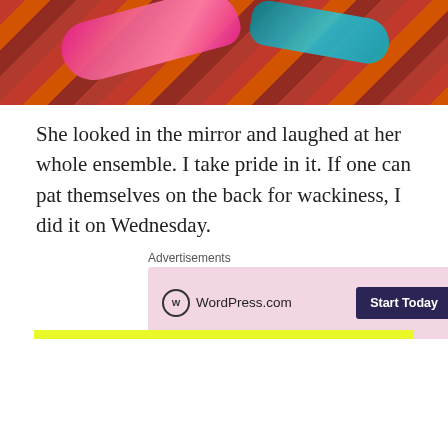[Figure (photo): Photo of colorful fabric scarves and accessories laid on a patterned rug with floral/leaf motifs in reds and browns.]
She looked in the mirror and laughed at her whole ensemble. I take pride in it. If one can pat themselves on the back for wackiness, I did it on Wednesday.
Advertisements
[Figure (other): WordPress.com advertisement banner with pink background, WordPress.com logo, and 'Start Today' button.]
Privacy & Cookies: This site uses cookies. By continuing to use this website, you agree to their use.
To find out more, including how to control cookies, see here: Cookie Policy